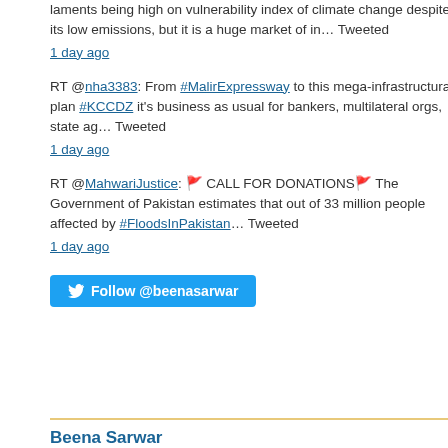laments being high on vulnerability index of climate change despite its low emissions, but it is a huge market of in… Tweeted 1 day ago
RT @nha3383: From #MalirExpressway to this mega-infrastructural plan #KCCDZ it's business as usual for bankers, multilateral orgs, state ag… Tweeted 1 day ago
RT @MahwariJustice: 🚩 CALL FOR DONATIONS🚩 The Government of Pakistan estimates that out of 33 million people affected by #FloodsInPakistan… Tweeted 1 day ago
Follow @beenasarwar
Beena Sarwar
[Figure (photo): Book cover with text 'Translated into English by Bina Biswas' on a golden/wooden cube background]
T
F
(av
Inte
Road,
Continue reading →
Share this:
WhatsApp
Facebook
Tw
LinkedIn
Pinterest
Print
Loading...
Filed under: Culture, Literature | Tagged: Bina B, Pakistan, poetry | Leave a comment »